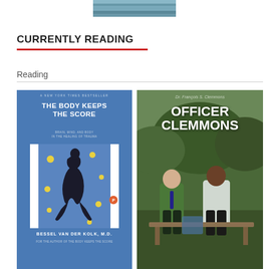[Figure (photo): Partial image of a body of water at the top of the page]
CURRENTLY READING
Reading
[Figure (photo): Book cover: The Body Keeps the Score - Brain, Mind, and Body in the Healing of Trauma by Bessel van der Kolk, M.D. Blue cover with a Penguin Books imprint.]
[Figure (photo): Book cover: Officer Clemmons by Dr. François S. Clemmons. Cover shows photo of two men (Mr. Rogers and Officer Clemmons) sitting outside.]